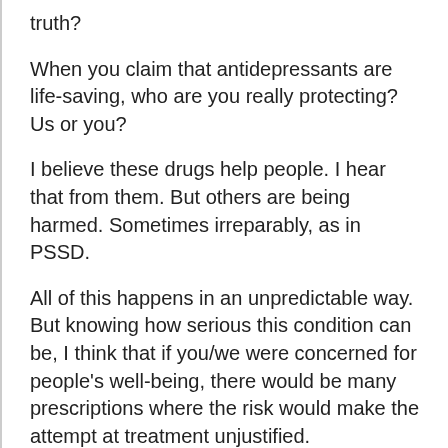truth?
When you claim that antidepressants are life-saving, who are you really protecting? Us or you?
I believe these drugs help people. I hear that from them. But others are being harmed. Sometimes irreparably, as in PSSD.
All of this happens in an unpredictable way. But knowing how serious this condition can be, I think that if you/we were concerned for people's well-being, there would be many prescriptions where the risk would make the attempt at treatment unjustified.
There may not be a miracle cure with no side effects. But these drugs could be used more safely if more research were done to understand the cause of PSSD.  Perhaps the risk could be avoided. In this sense, research into PSSD is not only of interest to those who already have it and just want